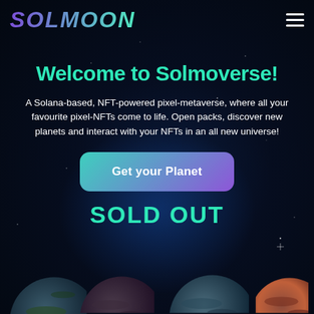SOLMOON
Welcome to Solmoverse!
A Solana-based, NFT-powered pixel-metaverse, where all your favourite pixel-NFTs come to life. Open packs, discover new planets and interact with your NFTs in an all new universe!
Get your Planet
SOLD OUT
[Figure (illustration): Four pixel-art planet illustrations partially visible along the bottom edge of the page, on a dark space background.]